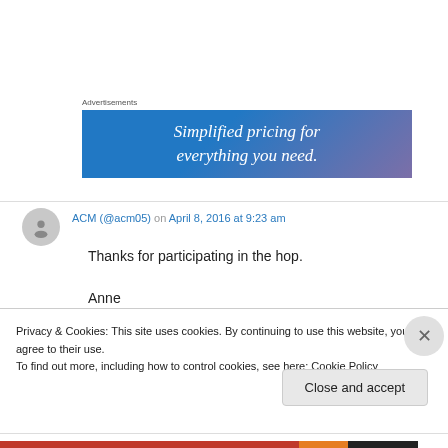Advertisements
[Figure (illustration): Advertisement banner with gradient blue-purple background and white italic text: 'Simplified pricing for everything you need.']
ACM (@acm05) on April 8, 2016 at 9:23 am
Thanks for participating in the hop.
Anne
Privacy & Cookies: This site uses cookies. By continuing to use this website, you agree to their use.
To find out more, including how to control cookies, see here: Cookie Policy
Close and accept